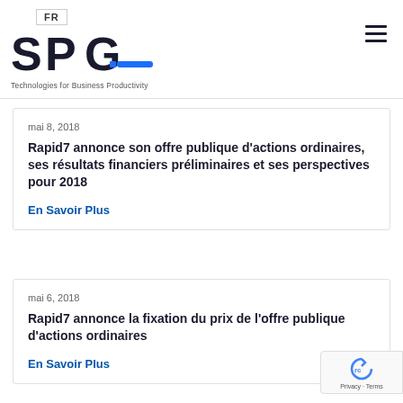FR | SPG_ Technologies for Business Productivity
mai 8, 2018
Rapid7 annonce son offre publique d'actions ordinaires, ses résultats financiers préliminaires et ses perspectives pour 2018
En Savoir Plus
mai 6, 2018
Rapid7 annonce la fixation du prix de l'offre publique d'actions ordinaires
En Savoir Plus